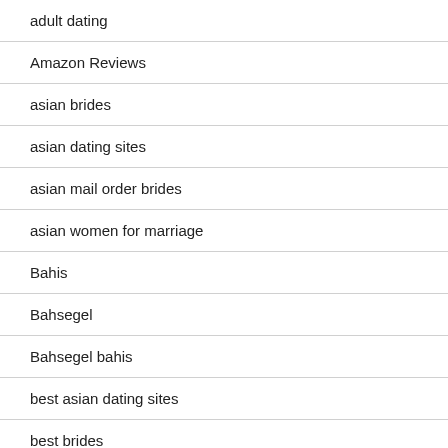adult dating
Amazon Reviews
asian brides
asian dating sites
asian mail order brides
asian women for marriage
Bahis
Bahsegel
Bahsegel bahis
best asian dating sites
best brides